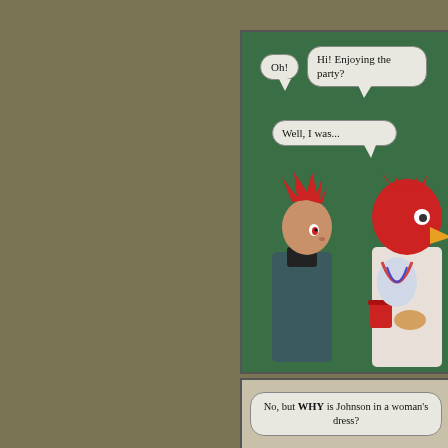[Figure (illustration): A two-panel comic strip. Top panel: dark green background. A character with spiky red hair wearing a dark turtleneck scarf looks left. Across from them stands a character dressed in a red bird/rooster costume holding a red cup and food. Speech bubbles read: 'Oh!', 'Hi! Enjoying the party?', and 'Well, I was...'. Bottom panel: tan/beige background. A speech bubble reads: 'No, but WHY is Johnson in a woman's dress?']
Oh!
Hi! Enjoying the party?
Well, I was...
No, but WHY is Johnson in a woman's dress?